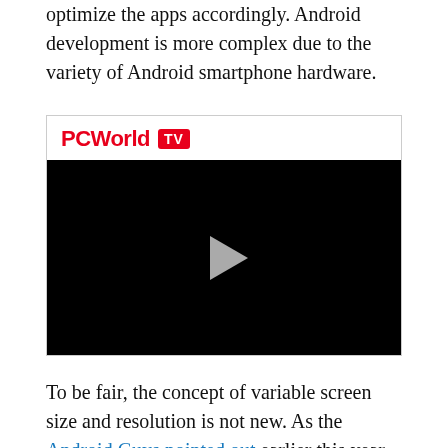optimize the apps accordingly. Android development is more complex due to the variety of Android smartphone hardware.
[Figure (screenshot): PCWorld TV video player embed with black screen and play button in center]
To be fair, the concept of variable screen size and resolution is not new. As the Android Guys pointed out earlier this year, Windows, Mac OS X, and Linux